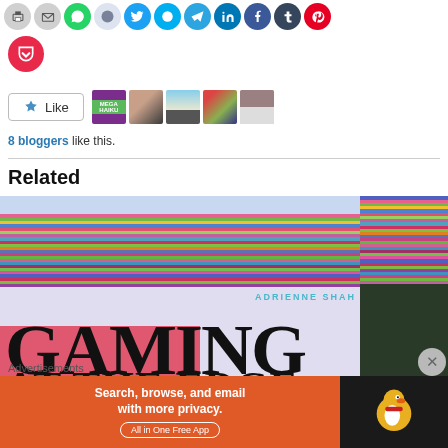[Figure (other): Social media sharing icons row: print, email, WhatsApp, Reddit, Twitter, Skype, Telegram, LinkedIn, Facebook, Tumblr, Pinterest]
[Figure (other): Pocket save icon (red circle with white heart/pocket icon)]
[Figure (other): Like button widget with star icon and 5 blogger avatar thumbnails]
8 bloggers like this.
Related
[Figure (photo): Book cover for 'Gaming at the Edge' by Adrienne Shah — colorful glitch-art landscape with large serif title text]
Advertisements
[Figure (other): DuckDuckGo advertisement banner: orange section with 'Search, browse, and email with more privacy. All in One Free App' and dark section with DuckDuckGo duck logo]